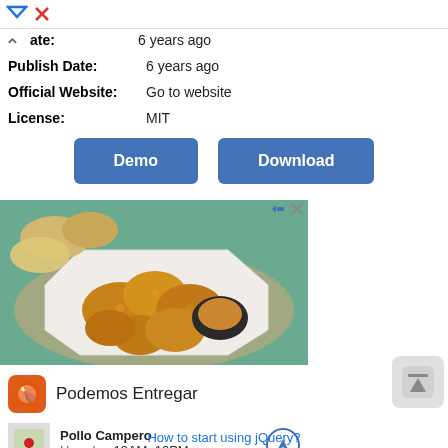ate:  6 years ago
Publish Date:  6 years ago
Official Website:  Go to website
License:  MIT
Demo   Download
[Figure (photo): Advertisement photo showing fried chicken pieces on a white octagonal plate with a dark bowl of dipping sauce, bread rolls in background, from Pollo Campero restaurant ad. Below the image: logo, brand name 'Podemos Entregar', location 'Pollo Campero - Herndon 10AM-10PM']
How to start using jQuery?